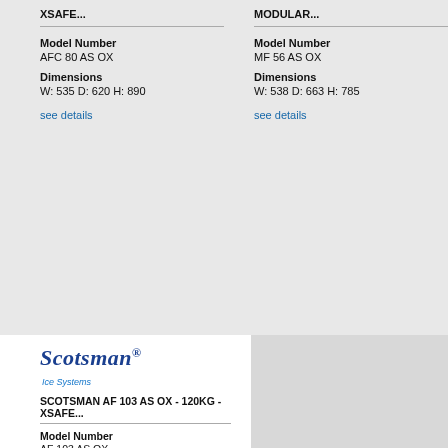XSAFE...
Model Number
AFC 80 AS OX
Dimensions
W: 535  D: 620  H: 890
see details
MODULAR...
Model Number
MF 56 AS OX
Dimensions
W: 538  D: 663  H: 785
see details
[Figure (logo): Scotsman Ice Systems logo]
SCOTSMAN AF 103 AS OX - 120KG - XSAFE...
Model Number
AF 103 AS OX